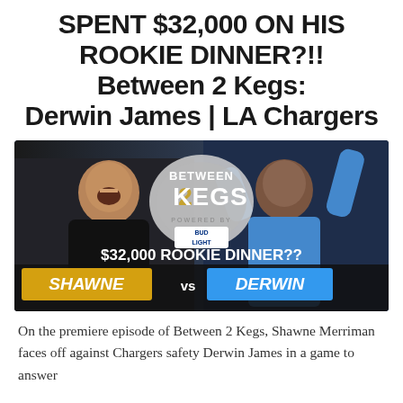SPENT $32,000 ON HIS ROOKIE DINNER?!! Between 2 Kegs: Derwin James | LA Chargers
[Figure (screenshot): Video thumbnail for 'Between 2 Kegs' episode featuring Shawne Merriman vs Derwin James, powered by Bud Light. Shows two men laughing/celebrating with text '$32,000 ROOKIE DINNER??' at bottom. Shawne name in gold/yellow badge, Derwin in blue badge.]
On the premiere episode of Between 2 Kegs, Shawne Merriman faces off against Chargers safety Derwin James in a game to answer